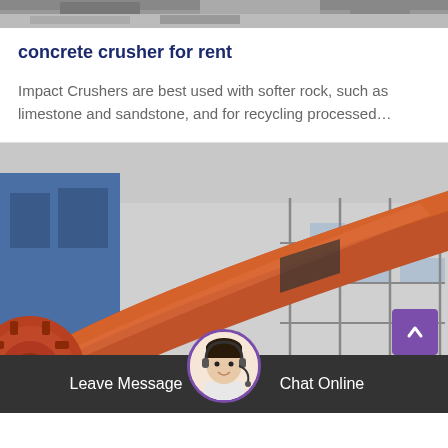[Figure (photo): Top portion of an industrial/construction site photo, partially cropped at top of page]
concrete crusher for rent
Impact Crushers are best used with softer rock, such as limestone and sandstone, and for recycling processed…
[Figure (photo): Large orange industrial pipe/drum at a construction or mining site, with blue building and scaffolding in background]
Leave Message   Chat Online